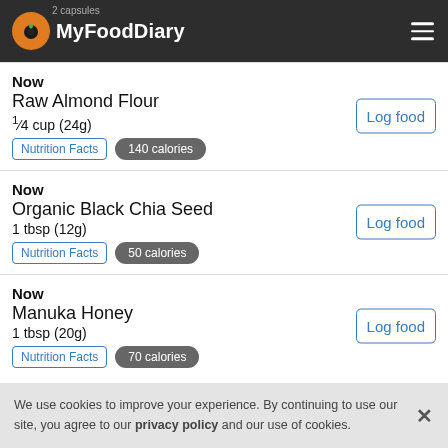MyFoodDiary
Now
Raw Almond Flour
1/4 cup (24g)
Nutrition Facts  140 calories
Log food
Now
Organic Black Chia Seed
1 tbsp (12g)
Nutrition Facts  50 calories
Log food
Now
Manuka Honey
1 tbsp (20g)
Nutrition Facts  70 calories
Log food
We use cookies to improve your experience. By continuing to use our site, you agree to our privacy policy and our use of cookies.